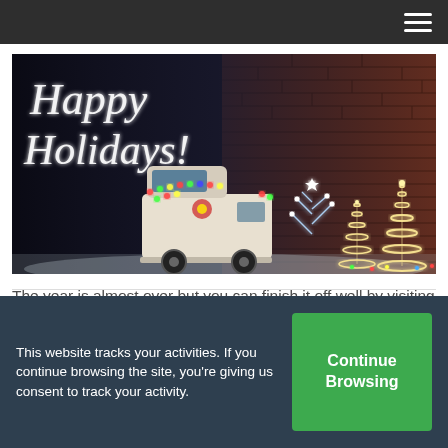Navigation bar with hamburger menu
[Figure (photo): Holiday photo showing a vintage van decorated with colorful Christmas lights, wire-frame Christmas trees with white lights, and a glowing branch tree against a brick wall background. White script text reads 'Happy Holidays!']
The year is almost over but you can finish it off well by visiting some wine festivals and wine trails  READ MORE ▶
This website tracks your activities. If you continue browsing the site, you're giving us consent to track your activity.
Continue Browsing